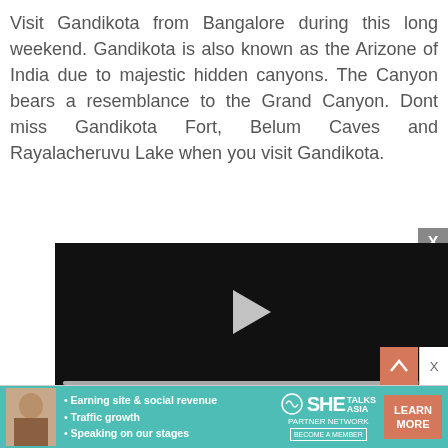Visit Gandikota from Bangalore during this long weekend. Gandikota is also known as the Arizone of India due to majestic hidden canyons. The Canyon bears a resemblance to the Grand Canyon. Dont miss Gandikota Fort, Belum Caves and Rayalacheruvu Lake when you visit Gandikota.
[Figure (screenshot): Embedded video player with black background, play button, progress bar showing 13:52 duration, and controls including mute, CC, grid, settings, and fullscreen icons.]
[Figure (screenshot): Advertisement banner for SHE TALKS ASIA Partner Network with bullet points: Earning site & social revenue, Traffic growth, Speaking on our stages. Includes a LEARN MORE button.]